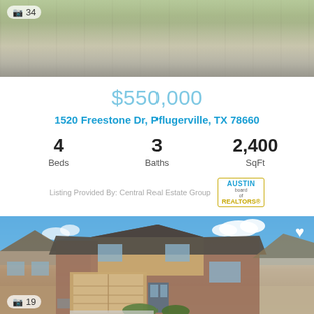[Figure (photo): Top photo of a house exterior showing driveway, garage, and landscaping with photo count badge showing 34]
$550,000
1520 Freestone Dr, Pflugerville, TX 78660
4 Beds  3 Baths  2,400 SqFt
Listing Provided By: Central Real Estate Group
[Figure (photo): Front exterior photo of a two-story brick and tan siding house with blue sky background, two-car garage, with heart icon and photo count badge showing 19]